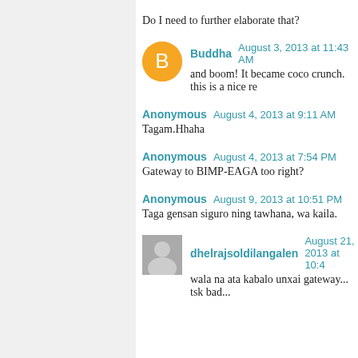Do I need to further elaborate that?
Buddha  August 3, 2013 at 11:43 AM
and boom! It became coco crunch. this is a nice re
Anonymous  August 4, 2013 at 9:11 AM
Tagam.Hhaha
Anonymous  August 4, 2013 at 7:54 PM
Gateway to BIMP-EAGA too right?
Anonymous  August 9, 2013 at 10:51 PM
Taga gensan siguro ning tawhana, wa kaila.
dhelrajsoldilangalen  August 21, 2013 at 10:4...
wala na ata kabalo unxai gateway... tsk bad...